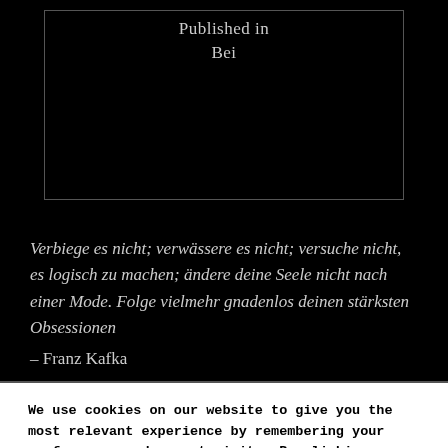[Figure (other): Black box with border containing 'Published in' and 'Bei' text centered]
Verbiege es nicht; verwässere es nicht; versuche nicht, es logisch zu machen; ändere deine Seele nicht nach einer Mode. Folge vielmehr gnadenlos deinen stärksten Obsessionen
– Franz Kafka
We use cookies on our website to give you the most relevant experience by remembering your preferences and repeat visits. By clicking "Accept", you consent to the use of ALL the cookies.
Cookie settings   Accept